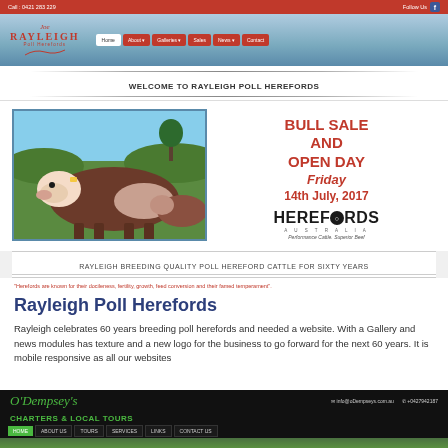[Figure (screenshot): Screenshot of Rayleigh Poll Herefords website showing navigation bar, header with logo, welcome banner, bull photo with Bull Sale and Open Day announcement for Friday 14th July 2017, Herefords Australia logo, sixty years tagline, and quote text.]
Rayleigh Poll Herefords
Rayleigh celebrates 60 years breeding poll herefords and needed a website.  With a Gallery and news modules has texture and a new logo for the business to go forward for the next 60 years.  It is mobile responsive as all our websites
[Figure (screenshot): Screenshot of O'Dempsey's Charters & Local Tours website showing dark header with green logo, contact info, and navigation menu with Home, About Us, Tours, Services, Links, Contact Us buttons.]